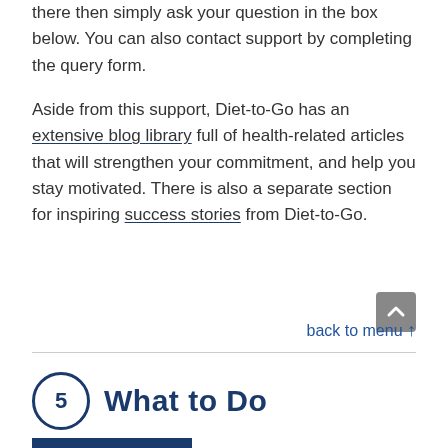there then simply ask your question in the box below. You can also contact support by completing the query form.
Aside from this support, Diet-to-Go has an extensive blog library full of health-related articles that will strengthen your commitment, and help you stay motivated. There is also a separate section for inspiring success stories from Diet-to-Go.
back to menu ↑
5  What to Do